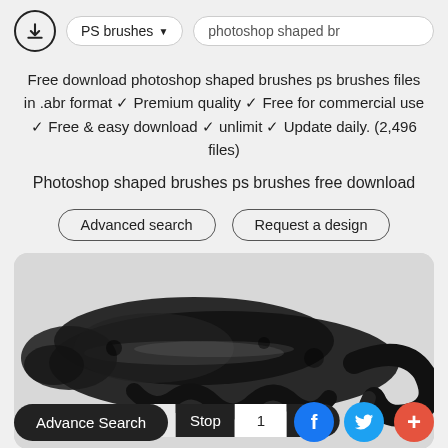PS brushes ▾   photoshop shaped br
Free download photoshop shaped brushes ps brushes files in .abr format ✓ Premium quality ✓ Free for commercial use ✓ Free & easy download ✓ unlimit ✓ Update daily. (2,496 files)
Photoshop shaped brushes ps brushes free download
Advanced search   Request a design
[Figure (photo): Black ink brush stroke image showing dark textured brush marks on white background]
Page: Stop 1 Go!
Advance Search